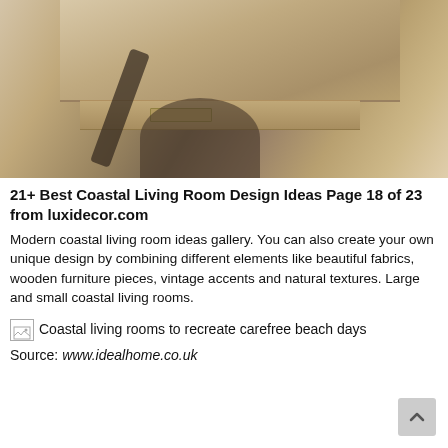[Figure (photo): Close-up photo of a coastal-style wooden console table with metal drawer pulls, a dark bentwood chair, stone tile floor, and decorative items on a white tray including a white ceramic piece and a small plant.]
21+ Best Coastal Living Room Design Ideas Page 18 of 23 from luxidecor.com
Modern coastal living room ideas gallery. You can also create your own unique design by combining different elements like beautiful fabrics, wooden furniture pieces, vintage accents and natural textures. Large and small coastal living rooms.
[Figure (photo): Broken image placeholder for: Coastal living rooms to recreate carefree beach days]
Source: www.idealhome.co.uk